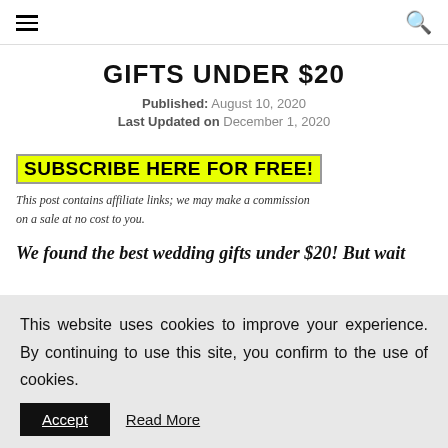≡  🔍
GIFTS UNDER $20
Published: August 10, 2020
Last Updated on December 1, 2020
SUBSCRIBE HERE FOR FREE!
This post contains affiliate links; we may make a commission on a sale at no cost to you.
We found the best wedding gifts under $20! But wait
This website uses cookies to improve your experience. By continuing to use this site, you confirm to the use of cookies.
Accept   Read More